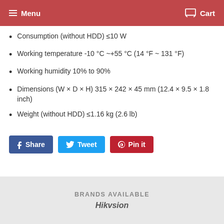Menu  Cart
Consumption (without HDD) ≤10 W
Working temperature -10 °C ~+55 °C (14 °F ~ 131 °F)
Working humidity 10% to 90%
Dimensions (W × D × H) 315 × 242 × 45 mm (12.4 × 9.5 × 1.8 inch)
Weight (without HDD) ≤1.16 kg (2.6 lb)
[Figure (other): Social sharing buttons: Share (Facebook), Tweet (Twitter), Pin it (Pinterest)]
BRANDS AVAILABLE
Hikvsion